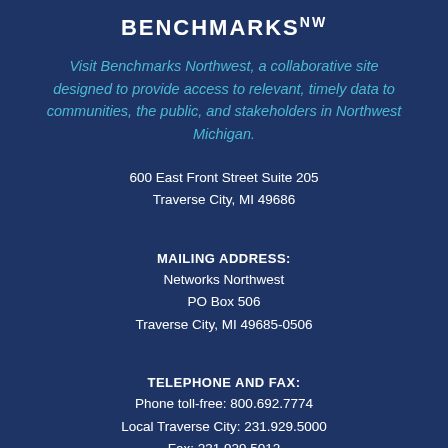BENCHMARKS NW
Visit Benchmarks Northwest, a collaborative site designed to provide access to relevant, timely data to communities, the public, and stakeholders in Northwest Michigan.
600 East Front Street Suite 205
Traverse City, MI 49686
MAILING ADDRESS:
Networks Northwest
PO Box 506
Traverse City, MI 49685-0506
TELEPHONE AND FAX:
Phone toll-free: 800.692.7774
Local Traverse City: 231.929.5000
Fax: 231.929.5012
Email a Staff Member >